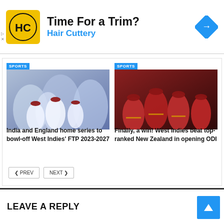[Figure (other): Advertisement banner: Hair Cuttery logo (HC on yellow square), text 'Time For a Trim?' and 'Hair Cuttery' in blue, blue diamond navigation icon]
[Figure (photo): West Indies cricket players in white test uniforms celebrating]
India and England home series to bowl-off West Indies' FTP 2023-2027
[Figure (photo): West Indies cricket players in red ODI uniforms celebrating]
Finally, a win! West Indies beat top-ranked New Zealand in opening ODI
LEAVE A REPLY